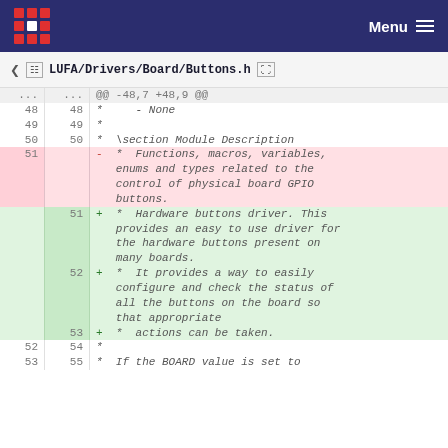Menu
LUFA/Drivers/Board/Buttons.h
| old | new | code |
| --- | --- | --- |
| ... | ... | @@ -48,7 +48,9 @@ |
| 48 | 48 | *     - None |
| 49 | 49 | * |
| 50 | 50 | *  \section Module Description |
| 51 |  | -  *  Functions, macros, variables, enums and types related to the control of physical board GPIO buttons. |
|  | 51 | +  *  Hardware buttons driver. This provides an easy to use driver for the hardware buttons present on many boards. |
|  | 52 | +  *  It provides a way to easily configure and check the status of all the buttons on the board so that appropriate |
|  | 53 | +  *  actions can be taken. |
| 52 | 54 | * |
| 53 | 55 | *  If the BOARD value is set to |